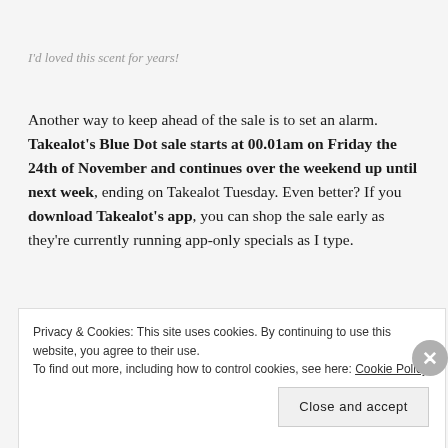I'd loved this scent for years!
Another way to keep ahead of the sale is to set an alarm. Takealot's Blue Dot sale starts at 00.01am on Friday the 24th of November and continues over the weekend up until next week, ending on Takealot Tuesday. Even better? If you download Takealot's app, you can shop the sale early as they're currently running app-only specials as I type.
Privacy & Cookies: This site uses cookies. By continuing to use this website, you agree to their use.
To find out more, including how to control cookies, see here: Cookie Policy
Close and accept